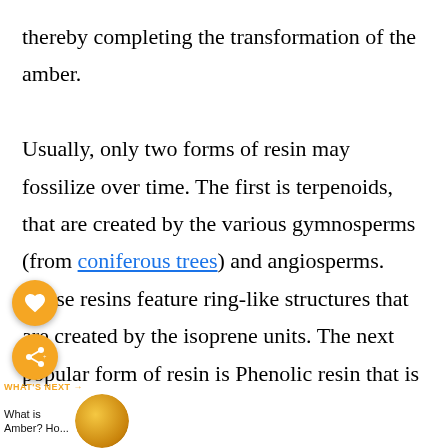thereby completing the transformation of the amber.

Usually, only two forms of resin may fossilize over time. The first is terpenoids, that are created by the various gymnosperms (from coniferous trees) and angiosperms. These resins feature ring-like structures that are created by the isoprene units. The next popular form of resin is Phenolic resin that is